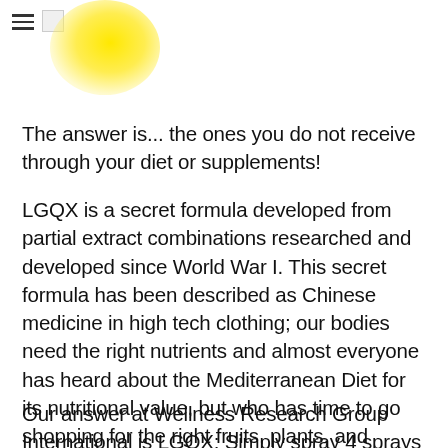[Figure (logo): Hamburger menu icon and small logo image placeholder, with a large yellow sun blob/glow in the upper left area]
The answer is... the ones you do not receive through your diet or supplements!
LGQX is a secret formula developed from partial extract combinations researched and developed since World War I. This secret formula has been described as Chinese medicine in high tech clothing; our bodies need the right nutrients and almost everyone has heard about the Mediterranean Diet for its nutritional value, but who has time to go shopping for the right fruits, plants, and vegetables, or time to spend in a restaurant 24 hours a day that serve these?
Our answer at Wellness Research Group International is LGQX: Simply spray 4 sprays every